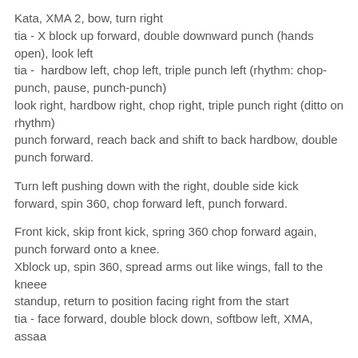Kata, XMA 2, bow, turn right
tia - X block up forward, double downward punch (hands open), look left
tia -  hardbow left, chop left, triple punch left (rhythm: chop-punch, pause, punch-punch)
look right, hardbow right, chop right, triple punch right (ditto on rhythm)
punch forward, reach back and shift to back hardbow, double punch forward.
Turn left pushing down with the right, double side kick forward, spin 360, chop forward left, punch forward.
Front kick, skip front kick, spring 360 chop forward again, punch forward onto a knee.
Xblock up, spin 360, spread arms out like wings, fall to the kneee
standup, return to position facing right from the start
tia - face forward, double block down, softbow left, XMA, assaa
--------------------------------------------